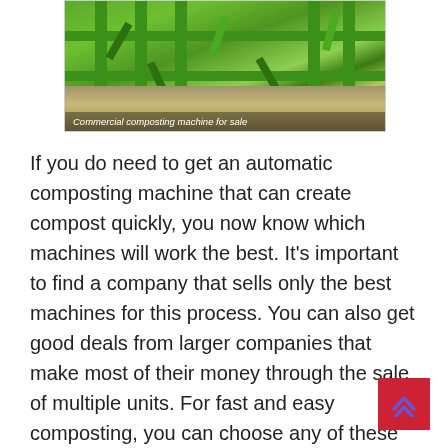[Figure (photo): Photo of a commercial composting machine for sale — green metal machinery with bars, tines, and mechanical parts on a concrete floor. Caption reads 'Commercial composting machine for sale'.]
Commercial composting machine for sale
If you do need to get an automatic composting machine that can create compost quickly, you now know which machines will work the best. It's important to find a company that sells only the best machines for this process. You can also get good deals from larger companies that make most of their money through the sale of multiple units. For fast and easy composting, you can choose any of these manure composting system for creating